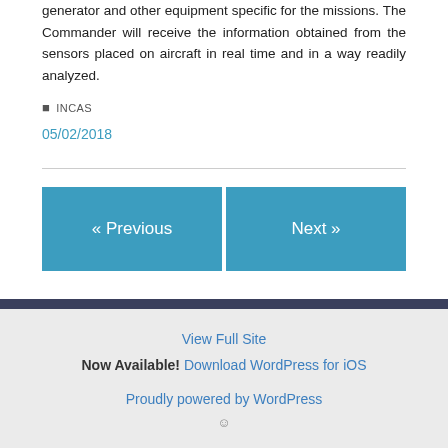generator and other equipment specific for the missions. The Commander will receive the information obtained from the sensors placed on aircraft in real time and in a way readily analyzed.
INCAS
05/02/2018
« Previous
Next »
View Full Site
Now Available! Download WordPress for iOS
Proudly powered by WordPress